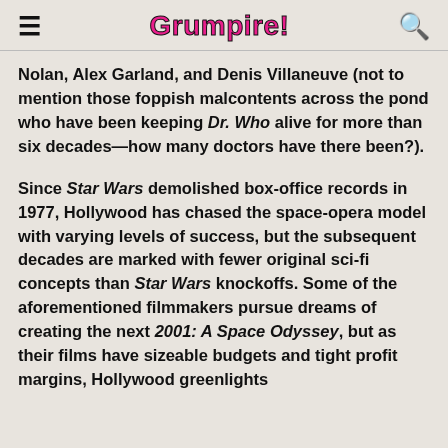Grumpire!
Nolan, Alex Garland, and Denis Villaneuve (not to mention those foppish malcontents across the pond who have been keeping Dr. Who alive for more than six decades—how many doctors have there been?).
Since Star Wars demolished box-office records in 1977, Hollywood has chased the space-opera model with varying levels of success, but the subsequent decades are marked with fewer original sci-fi concepts than Star Wars knockoffs. Some of the aforementioned filmmakers pursue dreams of creating the next 2001: A Space Odyssey, but as their films have sizeable budgets and tight profit margins, Hollywood greenlights